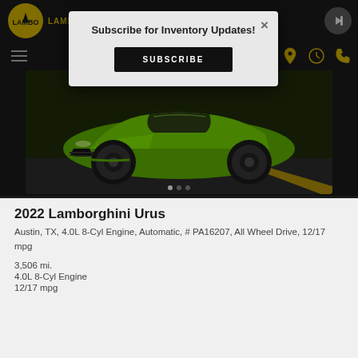LAMBORGHINI AUSTIN
[Figure (photo): Green Lamborghini Urus SUV photographed from front-left angle in a parking lot]
Subscribe for Inventory Updates!
SUBSCRIBE
2022 Lamborghini Urus
Austin, TX, 4.0L 8-Cyl Engine, Automatic, # PA16207, All Wheel Drive, 12/17 mpg
3,506 mi.
4.0L 8-Cyl Engine
12/17 mpg